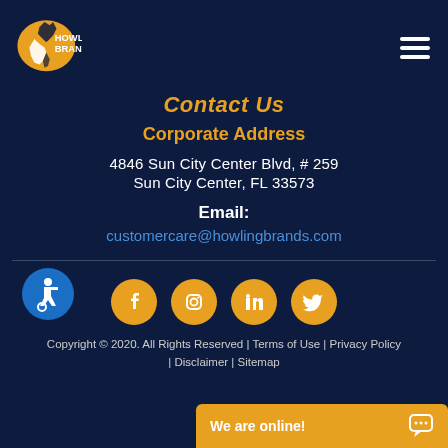[Figure (logo): Howling Brands logo with wolf silhouette in orange/yellow circle and white text]
Contact Us
Corporate Address
4846 Sun City Center Blvd, # 259
Sun City Center, FL 33573
Email:
customercare@howlingbrands.com
[Figure (illustration): Blue accessibility (wheelchair) icon circle]
[Figure (other): Social media icons: Facebook, Instagram, LinkedIn, Twitter in orange circles]
Copyright © 2020. All Rights Reserved | Terms of Use | Privacy Policy | Disclaimer | Sitemap
We are online!